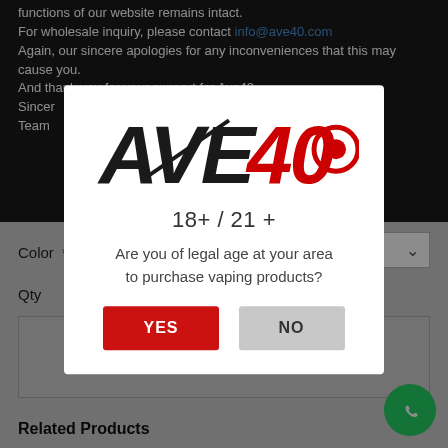functions of our website remains intact. For wholesale inquiry, please contact info@ave40.com Again, our sincere apologies for any inconveniences that this may cause you. And thank you for your support for Ave40. Sincerely, Team
[Figure (logo): AVE40 logo in black and red italic bold text]
18+ / 21 +
Are you of legal age at your area to purchase vaping products?
YES
NO
Color *
Qty
Related Products